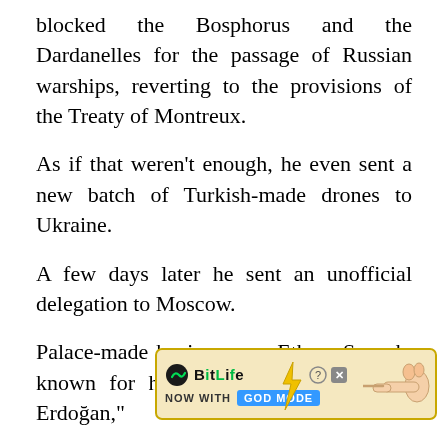blocked the Bosphorus and the Dardanelles for the passage of Russian warships, reverting to the provisions of the Treaty of Montreux.
As if that weren't enough, he even sent a new batch of Turkish-made drones to Ukraine.
A few days later he sent an unofficial delegation to Moscow.
Palace-made businessman Ethem Sancak, known for his quip "I'm in love with Erdoğan,"
made strange statements like this on Russian television: “NATO wants to overthro[Close X]doğan with e[BitLife NOW WITH GOD MODE ad]
[Figure (screenshot): BitLife advertisement banner overlay with 'NOW WITH GOD MODE' text and a pointing hand graphic. Also shows a 'Close X' button overlay.]